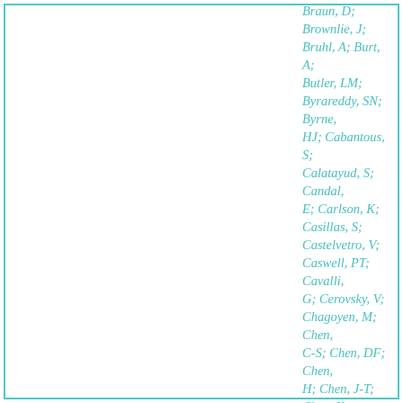Braun, D; Brownlie, J; Bruhl, A; Burt, A; Butler, LM; Byrareddy, SN; Byrne, HJ; Cabantous, S; Calatayud, S; Candal, E; Carlson, K; Casillas, S; Castelvetro, V; Caswell, PT; Cavalli, G; Cerovsky, V; Chagoyen, M; Chen, C-S; Chen, DF; Chen, H; Chen, J-T; Chen, Y; Cheng, C; Cheng, J; Chinapaw, M; Chinopoulos, C; Cho, WCS; Chong, L; Chowdhury, D; Chwalibog, A; Ciresi, A; Cockcroft, S; Conesa, A; Cook, PA;